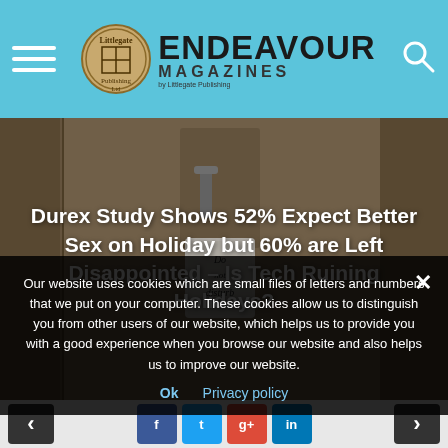Endeavour Magazines by Littlegate Publishing
[Figure (photo): Hotel door with a 'Do not disturb' sign hanging on the handle, wooden door background]
Durex Study Shows 52% Expect Better Sex on Holiday but 60% are Left Disappointed – Is Tech Ruining Holidays?
Our website uses cookies which are small files of letters and numbers that we put on your computer. These cookies allow us to distinguish you from other users of our website, which helps us to provide you with a good experience when you browse our website and also helps us to improve our website.
Ok   Privacy policy